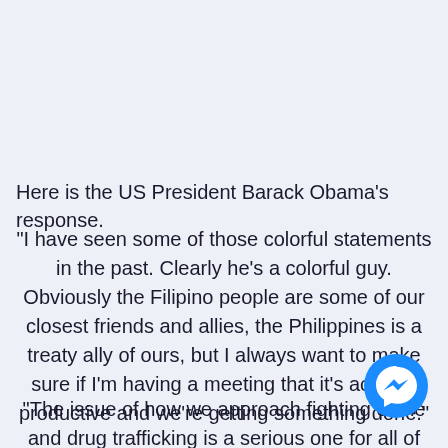Here is the US President Barack Obama's response.
"I have seen some of those colorful statements in the past. Clearly he’s a colorful guy. Obviously the Filipino people are some of our closest friends and allies, the Philippines is a treaty ally of ours, but I always want to make sure if I’m having a meeting that it’s actually productive and we’re getting something done."
"The issue of how we approach fighting crime and drug trafficking is a serious one for all of us. We’ve
[Figure (logo): Facebook Messenger logo icon - blue circle with white lightning bolt/chat bubble]